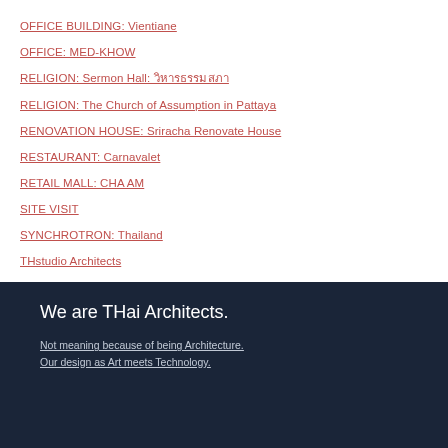OFFICE BUILDING: Vientiane
OFFICE: MED-KHOW
RELIGION: Sermon Hall: วิหารธรรมสภา
RELIGION: The Church of Assumption in Pattaya
RENOVATION HOUSE: Sriracha Renovate House
RESTAURANT: Carnavalet
RETAIL MALL: CHA AM
SITE VISIT
SYNCHROTRON: Thailand
THstudio Architects
We are THai Architects.
Not meaning because of being Architecture.
Our design as Art meets Technology.